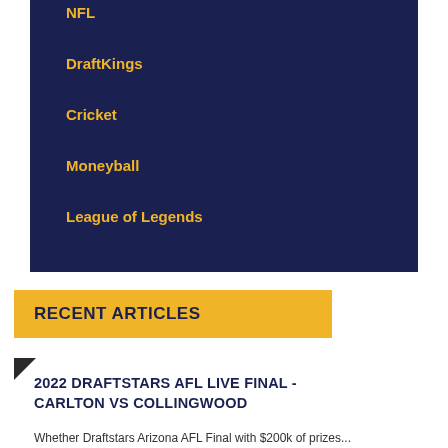NFL
DraftKings
Cricket
Moneyball
League of Legends
RECENT ARTICLES
2022 DRAFTSTARS AFL LIVE FINAL - CARLTON VS COLLINGWOOD
Whether Draftstars Arizona AFL Final with $200k of prizes...